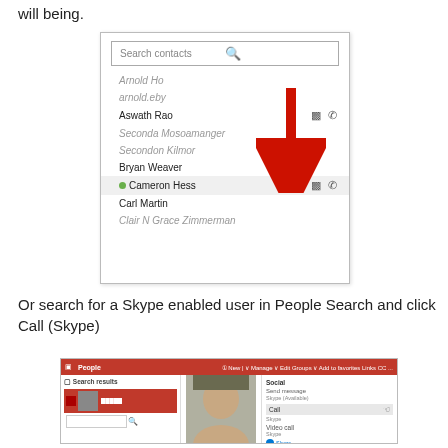will being.
[Figure (screenshot): Skype contact search UI showing a list of contacts including Arnold Ho, arnold.eby (blurred), Aswath Rao (with video/call icons), Seconda Mosoamanger (blurred), Secondon Kilmor (blurred), Bryan Weaver, Cameron Hess (green dot, with video/call icons, highlighted in red arrow), Carl Martin, Clair N Grace Zimmerman (blurred). A large red arrow points down to Cameron Hess row.]
Or search for a Skype enabled user in People Search and click Call (Skype)
[Figure (screenshot): SharePoint People search page showing search results panel on left with a contact selected in red, and on the right a Social panel with options: Send message (Skype (Available)), Call (Skype) with a cursor hover, Video call (Skype). A person's face photo is visible in center.]